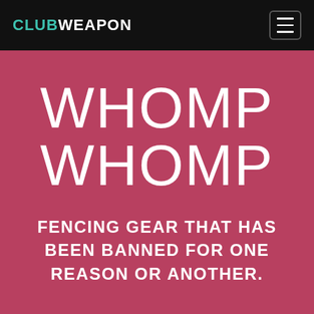CLUBWEAPON
WHOMP WHOMP
FENCING GEAR THAT HAS BEEN BANNED FOR ONE REASON OR ANOTHER.